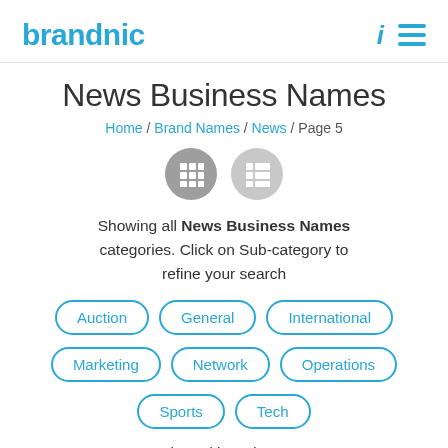brandnic
News Business Names
Home / Brand Names / News / Page 5
Showing all News Business Names categories. Click on Sub-category to refine your search
Auction
General
International
Marketing
Network
Operations
Sports
Tech
News oriented brand names are trending, news business names can be your customer's source for